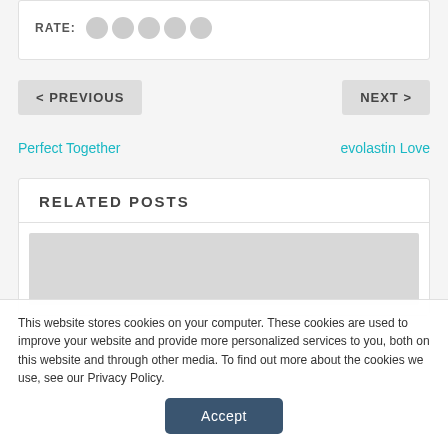RATE:
< PREVIOUS
NEXT >
Perfect Together
evolastin Love
RELATED POSTS
[Figure (photo): Gray placeholder image for related post thumbnail]
This website stores cookies on your computer. These cookies are used to improve your website and provide more personalized services to you, both on this website and through other media. To find out more about the cookies we use, see our Privacy Policy.
Accept